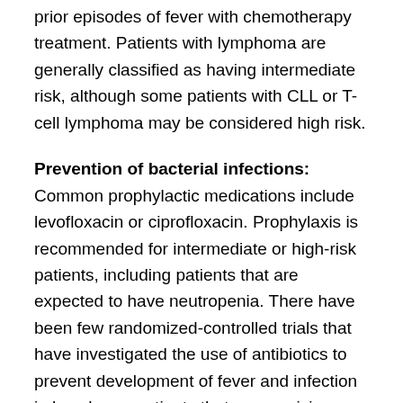prior episodes of fever with chemotherapy treatment. Patients with lymphoma are generally classified as having intermediate risk, although some patients with CLL or T-cell lymphoma may be considered high risk.
Prevention of bacterial infections: Common prophylactic medications include levofloxacin or ciprofloxacin. Prophylaxis is recommended for intermediate or high-risk patients, including patients that are expected to have neutropenia. There have been few randomized-controlled trials that have investigated the use of antibiotics to prevent development of fever and infection in lymphoma patients that are receiving chemotherapy. The largest randomized-controlled study, by Cullen et al in 2005, included 1,565